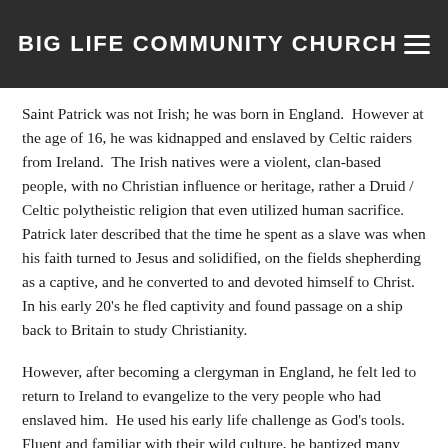BIG LIFE COMMUNITY CHURCH
Saint Patrick was not Irish; he was born in England.  However at the age of 16, he was kidnapped and enslaved by Celtic raiders from Ireland.  The Irish natives were a violent, clan-based people, with no Christian influence or heritage, rather a Druid / Celtic polytheistic religion that even utilized human sacrifice.  Patrick later described that the time he spent as a slave was when his faith turned to Jesus and solidified, on the fields shepherding as a captive, and he converted to and devoted himself to Christ.  In his early 20's he fled captivity and found passage on a ship back to Britain to study Christianity.
However, after becoming a clergyman in England, he felt led to return to Ireland to evangelize to the very people who had enslaved him.  He used his early life challenge as God's tools.  Fluent and familiar with their wild culture, he baptized many